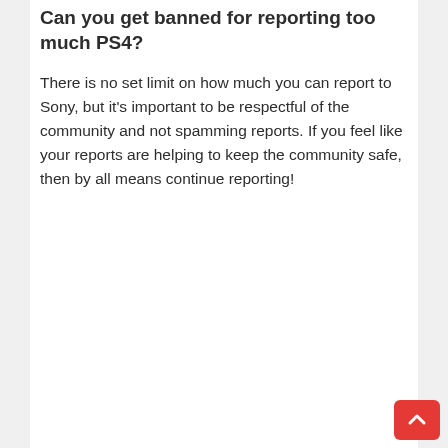Can you get banned for reporting too much PS4?
There is no set limit on how much you can report to Sony, but it's important to be respectful of the community and not spamming reports. If you feel like your reports are helping to keep the community safe, then by all means continue reporting!